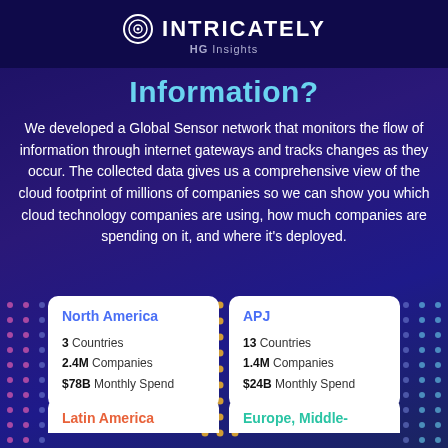INTRICATELY HG Insights
Information?
We developed a Global Sensor network that monitors the flow of information through internet gateways and tracks changes as they occur. The collected data gives us a comprehensive view of the cloud footprint of millions of companies so we can show you which cloud technology companies are using, how much companies are spending on it, and where it's deployed.
North America
3 Countries
2.4M Companies
$78B Monthly Spend
APJ
13 Countries
1.4M Companies
$24B Monthly Spend
Latin America
Europe, Middle-